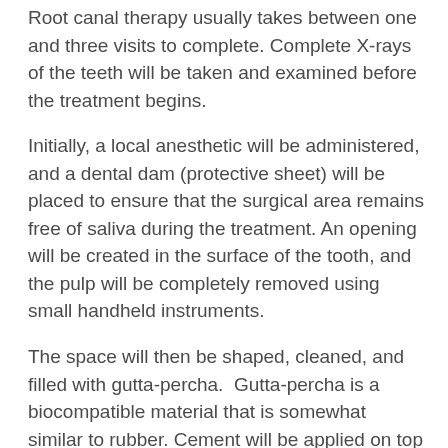Root canal therapy usually takes between one and three visits to complete. Complete X-rays of the teeth will be taken and examined before the treatment begins.
Initially, a local anesthetic will be administered, and a dental dam (protective sheet) will be placed to ensure that the surgical area remains free of saliva during the treatment. An opening will be created in the surface of the tooth, and the pulp will be completely removed using small handheld instruments.
The space will then be shaped, cleaned, and filled with gutta-percha.  Gutta-percha is a biocompatible material that is somewhat similar to rubber. Cement will be applied on top to ensure that the root canals are completely sealed off. Usually, a temporary filling will be placed to restore functionality to the tooth prior to the permanent restoration procedure